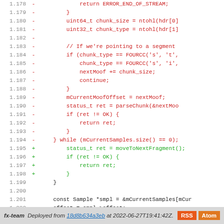[Figure (screenshot): Code diff view showing lines 1.178 to 1.206 of a C++ source file with removed lines (red) and added lines (green). Lines 1.178-1.194 are removed (red), lines 1.195-1.198 are added (green), lines 1.199-1.206 are unchanged.]
fx-team  Deployed from 18d8b634a3eb at 2022-06-27T19:41:42Z.   RSS  Atom